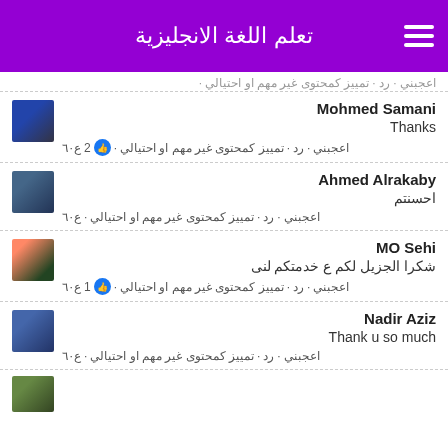تعلم اللغة الانجليزية
Mohmed Samani
Thanks
اعجبني · رد · تمييز كمحتوى غير مهم او احتيالي · 2 👍 ع٦٠
Ahmed Alrakaby
احسنتم
اعجبني · رد · تمييز كمحتوى غير مهم او احتيالي · ع٦٠
MO Sehi
شكرا الجزيل لكم ع خدمتكم لنى
اعجبني · رد · تمييز كمحتوى غير مهم او احتيالي · 1 👍 ع٦٠
Nadir Aziz
Thank u so much
اعجبني · رد · تمييز كمحتوى غير مهم او احتيالي · ع٦٠